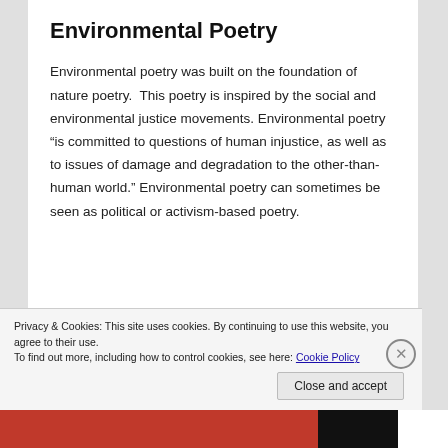Environmental Poetry
Environmental poetry was built on the foundation of nature poetry.  This poetry is inspired by the social and environmental justice movements. Environmental poetry “is committed to questions of human injustice, as well as to issues of damage and degradation to the other-than-human world.” Environmental poetry can sometimes be seen as political or activism-based poetry.
Privacy & Cookies: This site uses cookies. By continuing to use this website, you agree to their use.
To find out more, including how to control cookies, see here: Cookie Policy